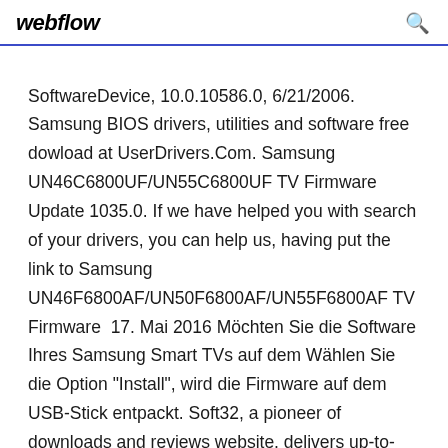webflow
SoftwareDevice, 10.0.10586.0, 6/21/2006. Samsung BIOS drivers, utilities and software free dowload at UserDrivers.Com. Samsung UN46C6800UF/UN55C6800UF TV Firmware Update 1035.0. If we have helped you with search of your drivers, you can help us, having put the link to Samsung UN46F6800AF/UN50F6800AF/UN55F6800AF TV Firmware  17. Mai 2016 Möchten Sie die Software Ihres Samsung Smart TVs auf dem Wählen Sie die Option "Install", wird die Firmware auf dem USB-Stick entpackt. Soft32, a pioneer of downloads and reviews website, delivers up-to-date software, free downloads